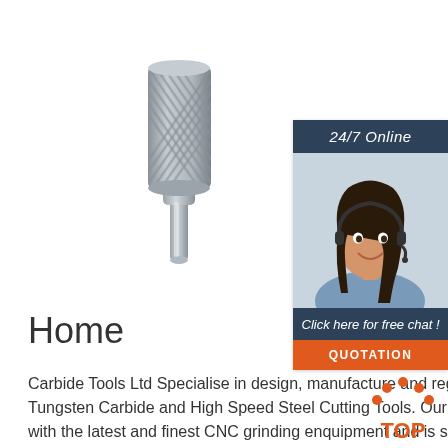[Figure (photo): A tungsten carbide rotary burr tool with cylindrical cutting head and long shank, shown diagonally on white background]
[Figure (infographic): 24/7 Online chat widget showing a smiling woman with headset, dark blue header with '24/7 Online', 'Click here for free chat!' text, and an orange QUOTATION button]
Home
Carbide Tools Ltd Specialise in design, manufacture and regrinding of all Tungsten Carbide and High Speed Steel Cutting Tools. Our factory is equipped with the latest and finest CNC grinding enquipment and is staffed by professionals with a
[Figure (logo): TOP icon with orange dots forming an arc above the word TOP in orange text]